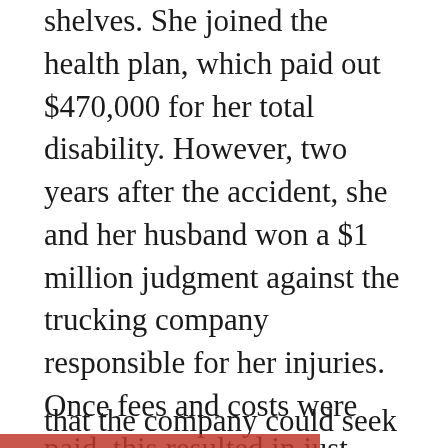shelves. She joined the health plan, which paid out $470,000 for her total disability. However, two years after the accident, she and her husband won a $1 million judgment against the trucking company responsible for her injuries. Once fees and costs were paid, this resulted in just $417,000 being placed in a trust account for Debbie's care. When Wal-Mart found out about it, they sued to get the money under a provision that said that the company could seek to